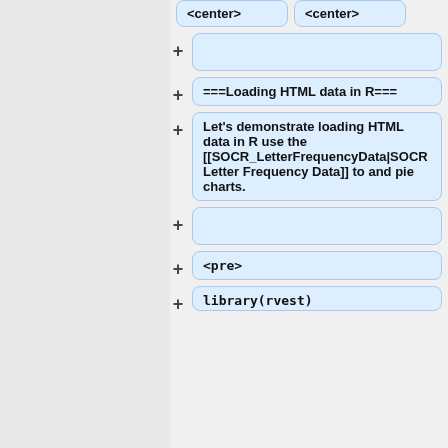[Figure (flowchart): Wiki/CMS editor tree view showing nodes: <center> tags at top, then collapsed nodes with + buttons, a section header node '===Loading HTML data in R===', a text node with paragraph about loading HTML data in R using SOCR Letter Frequency Data for pie charts, more collapsed nodes, a <pre> node, and a library(rvest) node at the bottom.]
<center>
<center>
===Loading HTML data in R===
Let's demonstrate loading HTML data in R use the [[SOCR_LetterFrequencyData|SOCR Letter Frequency Data]] to and pie charts.
<pre>
library(rvest)